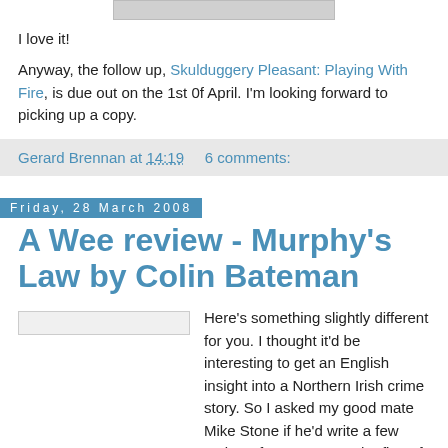[Figure (photo): Top portion of a book cover image, partially visible at top of page]
I love it!
Anyway, the follow up, Skulduggery Pleasant: Playing With Fire, is due out on the 1st 0f April. I'm looking forward to picking up a copy.
Gerard Brennan at 14:19     6 comments:
Friday, 28 March 2008
A Wee review - Murphy's Law by Colin Bateman
[Figure (photo): Book cover image placeholder for Murphy's Law by Colin Bateman]
Here's something slightly different for you. I thought it'd be interesting to get an English insight into a Northern Irish crime story. So I asked my good mate Mike Stone if he'd write a few reviews for me. Here's the first of them. He's got